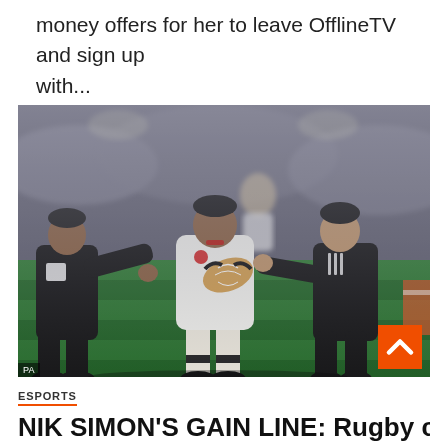money offers for her to leave OfflineTV and sign up with...
[Figure (photo): Rugby match action photo showing an England player in white kit carrying the ball being tackled by two All Blacks players in black kit. PA photo credit shown at bottom left.]
ESPORTS
NIK SIMON'S GAIN LINE: Rugby chiefs plot